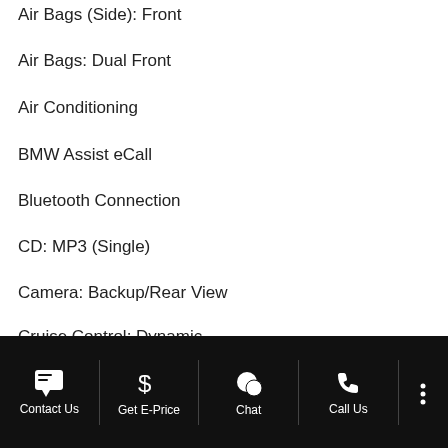Air Bags (Side): Front
Air Bags: Dual Front
Air Conditioning
BMW Assist eCall
Bluetooth Connection
CD: MP3 (Single)
Camera: Backup/Rear View
Cruise Control: Dynamic
Daytime Running Lights
c Stability Control
[Figure (infographic): Blue circular accessibility icon with person in wheelchair]
Explore financing
[Figure (logo): Capital One logo in white]
Contact Us | Get E-Price | Chat | Call Us